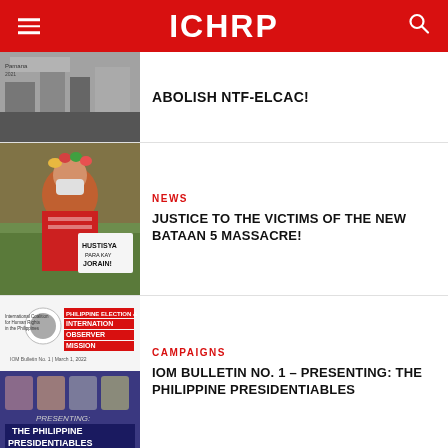ICHRP
ABOLISH NTF-ELCAC!
[Figure (photo): Black and white photo of a protest scene with text signs]
[Figure (photo): Photo of an Indigenous Filipino person wearing traditional red woven attire and a floral headdress, holding a sign that reads HUSTISYA PARA KAY JORAIN!, wearing a face mask]
NEWS
JUSTICE TO THE VICTIMS OF THE NEW BATAAN 5 MASSACRE!
[Figure (photo): IOM Bulletin No.1 cover image from International Coalition for Human Rights in the Philippines, showing Philippine Election Observer Mission header, and below it a blue banner showing The Philippine Presidentiables with portraits of candidates]
CAMPAIGNS
IOM BULLETIN NO. 1 – PRESENTING: THE PHILIPPINE PRESIDENTIABLES
ichrp.net  ICHRPGlob